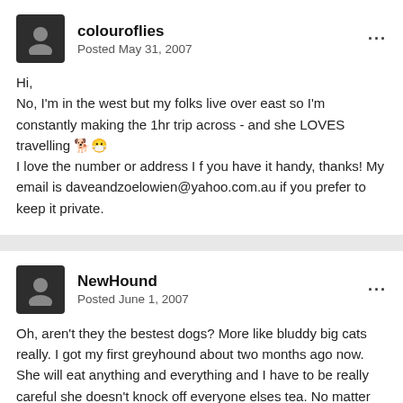colouroflies
Posted May 31, 2007
Hi,
No, I'm in the west but my folks live over east so I'm constantly making the 1hr trip across - and she LOVES travelling 🐕😷
I love the number or address I f you have it handy, thanks! My email is daveandzoelowien@yahoo.com.au if you prefer to keep it private.
NewHound
Posted June 1, 2007
Oh, aren't they the bestest dogs? More like bluddy big cats really. I got my first greyhound about two months ago now. She will eat anything and everything and I have to be really careful she doesn't knock off everyone elses tea. No matter how much she gets she always looks for more.